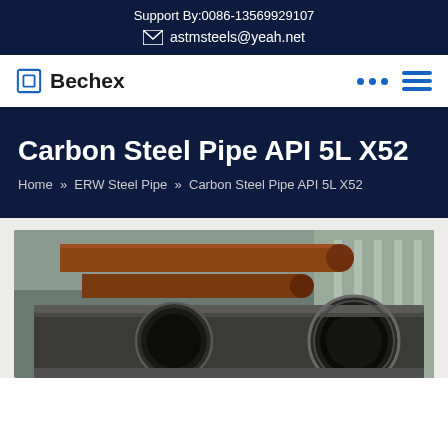Support By:0086-13569929107
astmsteels@yeah.net
[Figure (logo): Bechex company logo with blue square bracket icon and bold text]
Carbon Steel Pipe API 5L X52
Home » ERW Steel Pipe » Carbon Steel Pipe API 5L X52
[Figure (photo): Industrial steel pipes stacked in a warehouse/factory setting, showing large diameter carbon steel pipes with a factory background]